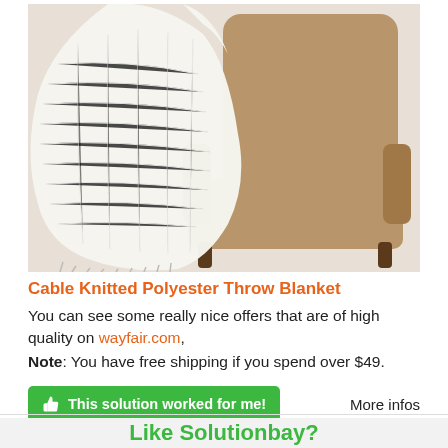[Figure (photo): A cream/white cable knitted polyester throw blanket draped over a tan/beige upholstered armchair against a light grey background.]
Cable Knitted Polyester Throw Blanket
You can see some really nice offers that are of high quality on wayfair.com,
Note: You have free shipping if you spend over $49.
This solution worked for me!
More infos
Like Solutionbay?